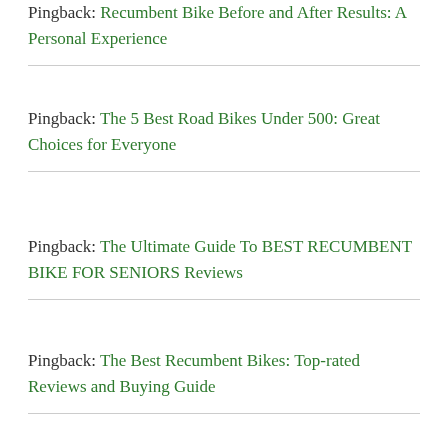Pingback: Recumbent Bike Before and After Results: A Personal Experience
Pingback: The 5 Best Road Bikes Under 500: Great Choices for Everyone
Pingback: The Ultimate Guide To BEST RECUMBENT BIKE FOR SENIORS Reviews
Pingback: The Best Recumbent Bikes: Top-rated Reviews and Buying Guide